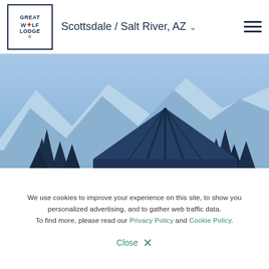Scottsdale / Salt River, AZ
[Figure (illustration): Great Wolf Lodge hero illustration with mountain silhouettes, pine trees, wolves running, and a lodge building in dark navy blue tones. A Great Wolf Lodge logo badge is overlaid at the bottom center.]
We use cookies to improve your experience on this site, to show you personalized advertising, and to gather web traffic data. To find more, please read our Privacy Policy and Cookie Policy.
Close ×